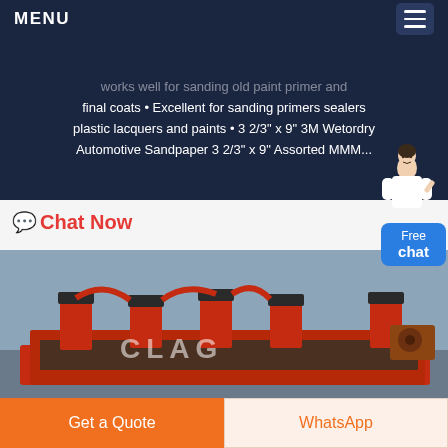MENU
works well for sanding old paint primer and final coats • Excellent for sanding primers sealers plastic lacquers and paints • 3 2/3" x 9" 3M Wetordry Automotive Sandpaper 3 2/3" x 9" Assorted MMM...
Chat Now
[Figure (photo): Red industrial flotation machine equipment with multiple cylindrical impellers, displayed against a blue background, at what appears to be an industrial exhibition.]
Get a Quote
WhatsApp